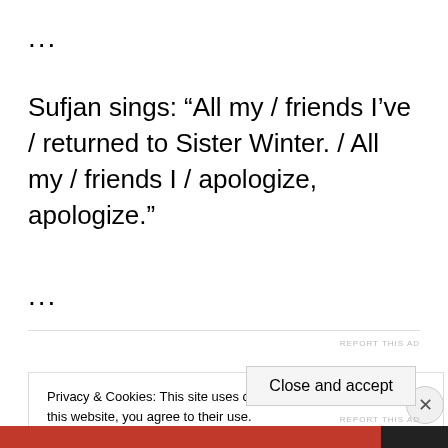…
Sufjan sings: “All my / friends I’ve / returned to Sister Winter. / All my / friends I / apologize, apologize.”
…
REPORT THIS AD
Privacy & Cookies: This site uses cookies. By continuing to use this website, you agree to their use.
To find out more, including how to control cookies, see here: Cookie Policy
Close and accept